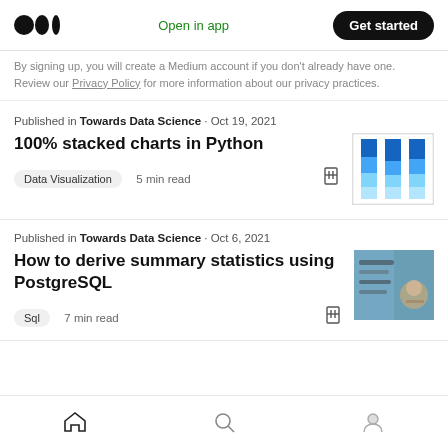Medium logo | Open in app | Get started
By signing up, you will create a Medium account if you don't already have one. Review our Privacy Policy for more information about our privacy practices.
Published in Towards Data Science · Oct 19, 2021
100% stacked charts in Python
Data Visualization  5 min read
[Figure (screenshot): Thumbnail of a 100% stacked bar chart in shades of blue]
Published in Towards Data Science · Oct 6, 2021
How to derive summary statistics using PostgreSQL
Sql  7 min read
[Figure (photo): Photo thumbnail showing a hand writing on a chalkboard with database/statistics content]